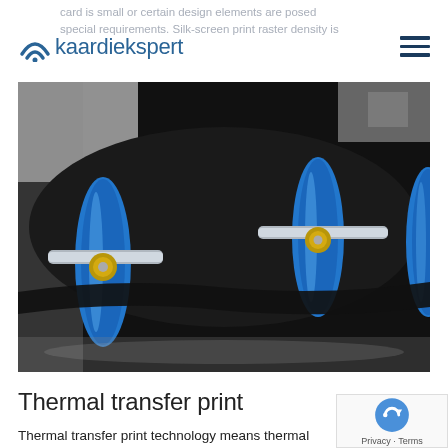card is small or certain design elements are posed special requirements. Silk-screen print raster density is
[Figure (logo): Kaardiekspert logo with antenna/wifi icon and text 'kaardiekspert' in blue]
[Figure (photo): Close-up photo of blue printing rollers/drums with metallic shafts on a black background, used in thermal transfer printing machinery]
Thermal transfer print
Thermal transfer print technology means thermal